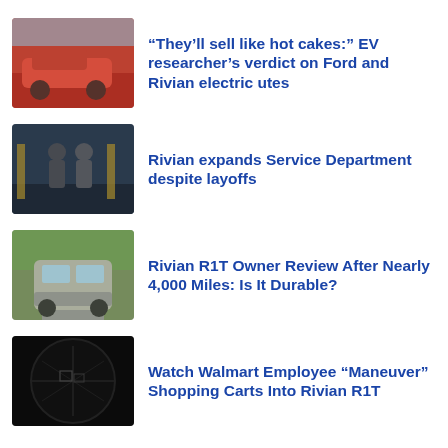[Figure (photo): Red Rivian R1T electric truck parked near a garage with a person in the background]
“They’ll sell like hot cakes:” EV researcher’s verdict on Ford and Rivian electric utes
[Figure (photo): Two workers wearing masks in an automotive service department]
Rivian expands Service Department despite layoffs
[Figure (photo): Silver/white Rivian R1T truck driving on a suburban road with trees]
Rivian R1T Owner Review After Nearly 4,000 Miles: Is It Durable?
[Figure (photo): Fisheye view of a parking lot with shopping carts, dark image]
Watch Walmart Employee “Maneuver” Shopping Carts Into Rivian R1T